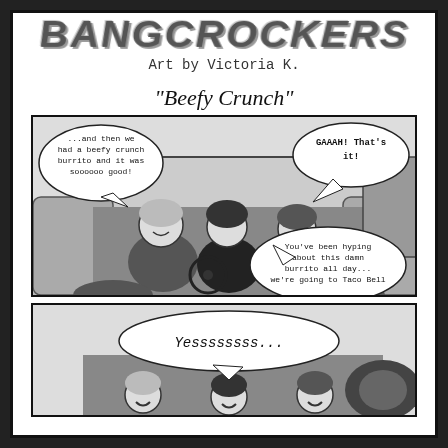BANGCROCKERS
Art by Victoria K.
"Beefy Crunch"
[Figure (illustration): Comic panel 1: Three anime-style characters sitting in a car. Left character with lighter hair has a speech bubble saying '...and then we had a beefy crunch burrito and it was soooooo good!' Right character reacts with speech bubble 'GAAAH! That's it!' Bottom right speech bubble says 'You've been hyping about this damn burrito all day... we're going to Taco Bell']
[Figure (illustration): Comic panel 2: Three characters in car, center character has large speech bubble 'Yessssssss...']